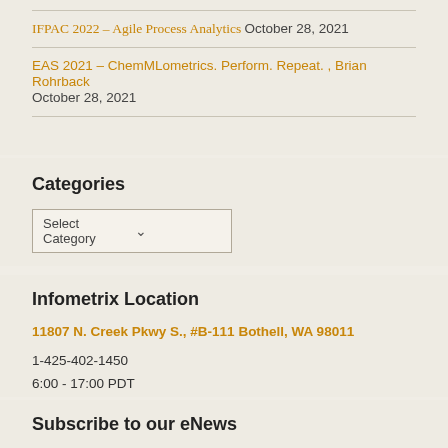IFPAC 2022 – Agile Process Analytics October 28, 2021
EAS 2021 – ChemMLometrics. Perform. Repeat. , Brian Rohrback October 28, 2021
Categories
Select Category
Infometrix Location
11807 N. Creek Pkwy S., #B-111 Bothell, WA 98011
1-425-402-1450
6:00 - 17:00 PDT
Subscribe to our eNews